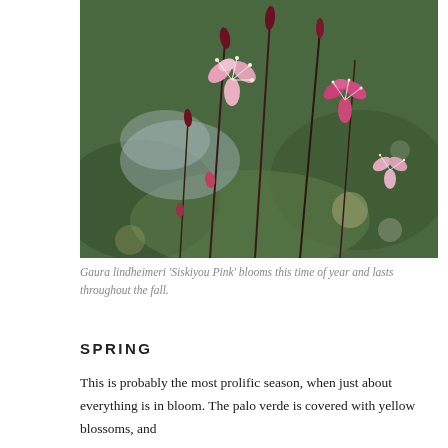[Figure (photo): Close-up photograph of Gaura lindheimeri 'Siskiyou Pink' flowers — delicate pink blossoms with white stamens on thin dark reddish-green stems, with a blurred green garden background featuring agave or similar plants.]
Gaura lindheimeri 'Siskiyou Pink' blooms this time of year and lasts throughout the fall.
SPRING
This is probably the most prolific season, when just about everything is in bloom. The palo verde is covered with yellow blossoms, and